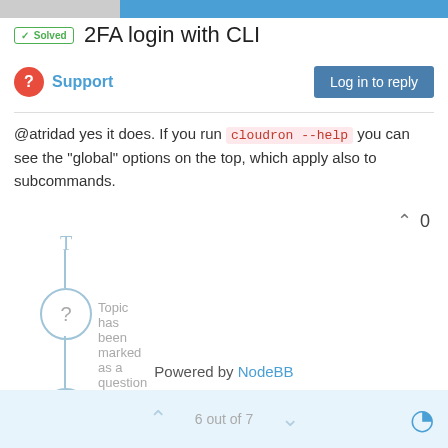✓ Solved  2FA login with CLI
? Support
@atridad yes it does. If you run cloudron --help you can see the "global" options on the top, which apply also to subcommands.
Topic has been marked as a question  girish
Topic has been marked as solved  girish
Powered by NodeBB
6 out of 7